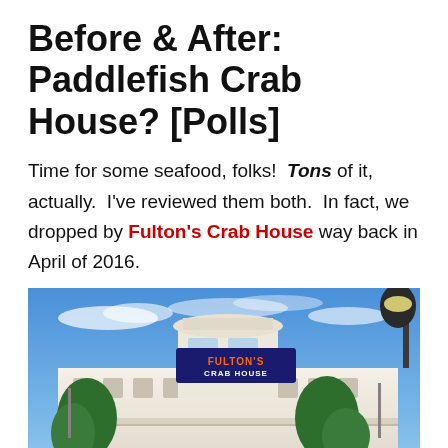Before & After: Paddlefish Crab House? [Polls]
Time for some seafood, folks!  Tons of it, actually.  I've reviewed them both.  In fact, we dropped by Fulton's Crab House way back in April of 2016.
[Figure (photo): Exterior photo of Fulton's Crab House building with white Victorian-style architecture, palm trees, blue sky, and the Fulton's Crab House sign visible on the rooftop.]